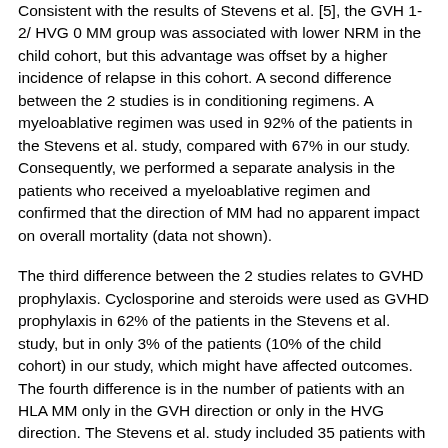Consistent with the results of Stevens et al. [5], the GVH 1-2/ HVG 0 MM group was associated with lower NRM in the child cohort, but this advantage was offset by a higher incidence of relapse in this cohort. A second difference between the 2 studies is in conditioning regimens. A myeloablative regimen was used in 92% of the patients in the Stevens et al. study, compared with 67% in our study. Consequently, we performed a separate analysis in the patients who received a myeloablative regimen and confirmed that the direction of MM had no apparent impact on overall mortality (data not shown).
The third difference between the 2 studies relates to GVHD prophylaxis. Cyclosporine and steroids were used as GVHD prophylaxis in 62% of the patients in the Stevens et al. study, but in only 3% of the patients (10% of the child cohort) in our study, which might have affected outcomes. The fourth difference is in the number of patients with an HLA MM only in the GVH direction or only in the HVG direction. The Stevens et al. study included 35 patients with a GVH 1-2/HVG 0 MM and 22 patients with a GVH 0/HVG 1-2 MM in the overall mortality analysis, compared with 150 and 126